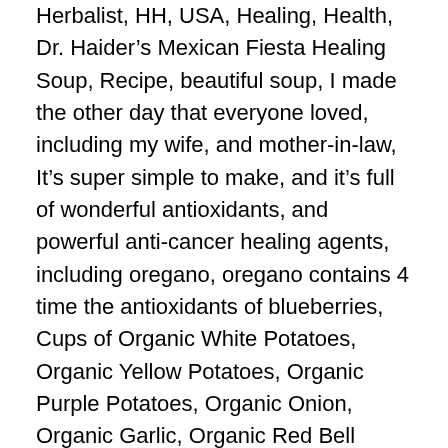Herbalist, HH, USA, Healing, Health, Dr. Haider's Mexican Fiesta Healing Soup, Recipe, beautiful soup, I made the other day that everyone loved, including my wife, and mother-in-law, It's super simple to make, and it's full of wonderful antioxidants, and powerful anti-cancer healing agents, including oregano, oregano contains 4 time the antioxidants of blueberries, Cups of Organic White Potatoes, Organic Yellow Potatoes, Organic Purple Potatoes, Organic Onion, Organic Garlic, Organic Red Bell Pepper, Organic Black Olives, Organic Oregano, Organic Garlic Powder, Organic Mexican Salsa, Organic Kidney Beans, Organic Corn, Organic Salt-Free Veggie Bouillon Cubes, Filtered Water, Photo,
Here is my Google+ address if any of you would like to connect. — http://plus.google.com/+PaulHaider–drpaulhaider